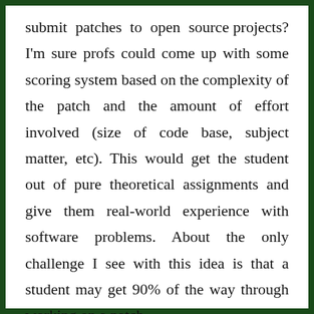submit patches to open source projects? I'm sure profs could come up with some scoring system based on the complexity of the patch and the amount of effort involved (size of code base, subject matter, etc). This would get the student out of pure theoretical assignments and give them real-world experience with software problems. About the only challenge I see with this idea is that a student may get 90% of the way through working on a patch